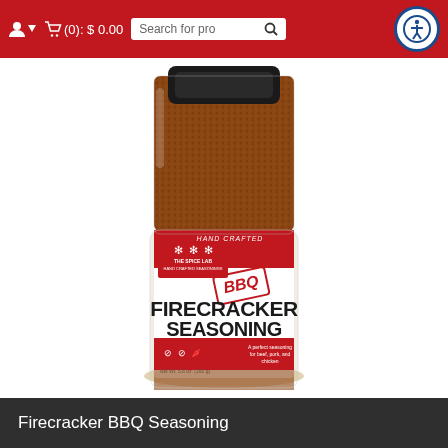User account | Cart (0): $0.00 | Search for products
[Figure (photo): A glass shaker jar of Firecracker BBQ Seasoning from The Spice Lab. The jar shows a white label with bold black text reading FIRECRACKER SEASONING and a red diagonal stamp reading BBQ. The label also shows HAND CRAFTED at the top and dietary icons at the bottom. The jar is filled with reddish-brown seasoning blend.]
Firecracker BBQ Seasoning